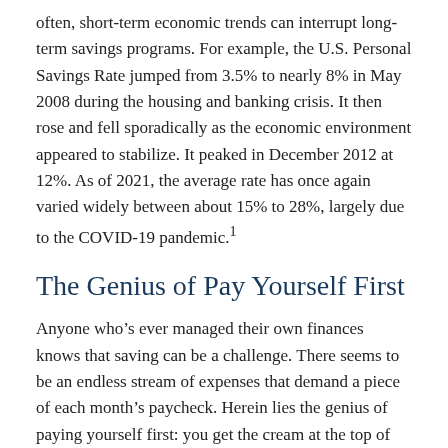often, short-term economic trends can interrupt long-term savings programs. For example, the U.S. Personal Savings Rate jumped from 3.5% to nearly 8% in May 2008 during the housing and banking crisis. It then rose and fell sporadically as the economic environment appeared to stabilize. It peaked in December 2012 at 12%. As of 2021, the average rate has once again varied widely between about 15% to 28%, largely due to the COVID-19 pandemic.¹
The Genius of Pay Yourself First
Anyone who's ever managed their own finances knows that saving can be a challenge. There seems to be an endless stream of expenses that demand a piece of each month's paycheck. Herein lies the genius of paying yourself first: you get the cream at the top of the bucket, and not the leftovers at the bottom.
The trick is to prioritize. Make it a point to put your future